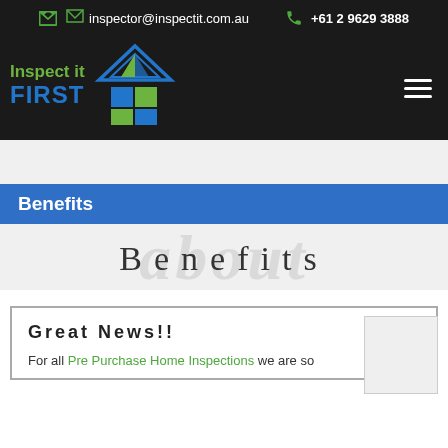inspector@inspectit.com.au  +61 2 9629 3888
[Figure (logo): Inspect it FIRST logo with house icon]
Benefits
Benefits
Great News!!
For all Pre Purchase Home Inspections we are so